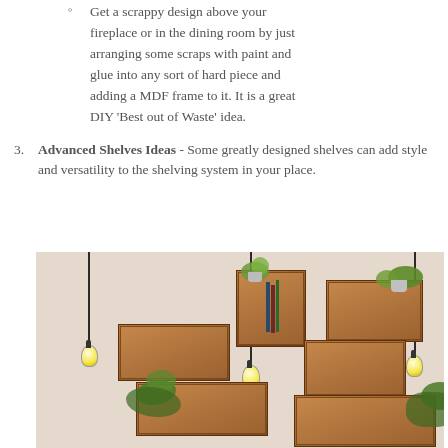Get a scrappy design above your fireplace or in the dining room by just arranging some scraps with paint and glue into any sort of hard piece and adding a MDF frame to it. It is a great DIY 'Best out of Waste' idea.
Advanced Shelves Ideas - Some greatly designed shelves can add style and versatility to the shelving system in your place.
[Figure (photo): Photo of wooden crate boxes arranged as wall shelves at various heights, with hanging pendant bulb lights and green plants decorating the shelves against a light beige wall.]